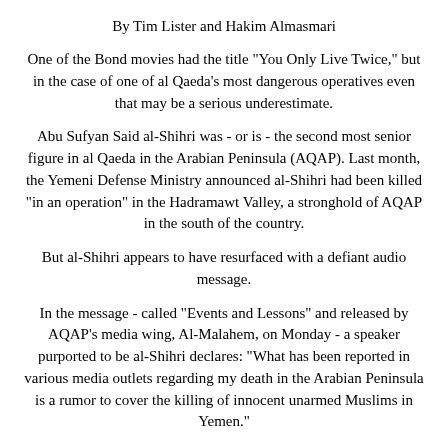By Tim Lister and Hakim Almasmari
One of the Bond movies had the title "You Only Live Twice," but in the case of one of al Qaeda's most dangerous operatives even that may be a serious underestimate.
Abu Sufyan Said al-Shihri was - or is - the second most senior figure in al Qaeda in the Arabian Peninsula (AQAP). Last month, the Yemeni Defense Ministry announced al-Shihri had been killed "in an operation" in the Hadramawt Valley, a stronghold of AQAP in the south of the country.
But al-Shihri appears to have resurfaced with a defiant audio message.
In the message - called "Events and Lessons" and released by AQAP's media wing, Al-Malahem, on Monday - a speaker purported to be al-Shihri declares: "What has been reported in various media outlets regarding my death in the Arabian Peninsula is a rumor to cover the killing of innocent unarmed Muslims in Yemen."
Al-Shihri (if it was him) accused the Yemeni government of being an American puppet.